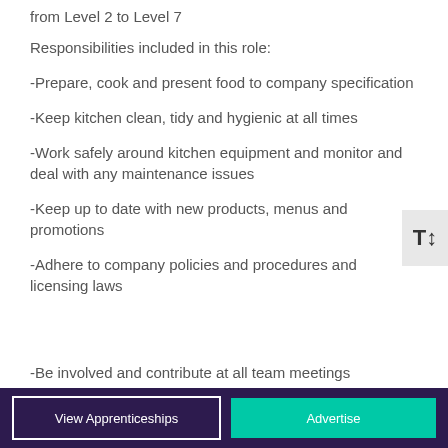from Level 2 to Level 7
Responsibilities included in this role:
-Prepare, cook and present food to company specification
-Keep kitchen clean, tidy and hygienic at all times
-Work safely around kitchen equipment and monitor and deal with any maintenance issues
-Keep up to date with new products, menus and promotions
-Adhere to company policies and procedures and licensing laws
-Be involved and contribute at all team meetings
View Apprenticeships | Advertise